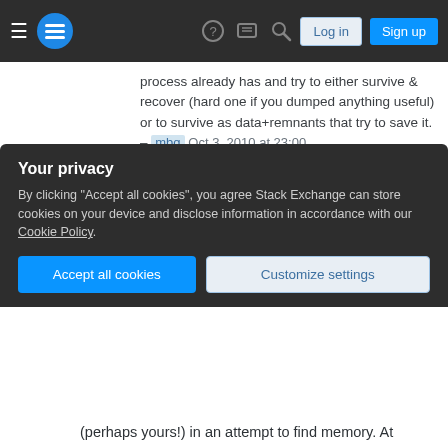Stack Exchange navigation bar with Log in and Sign up buttons
process already has and try to either survive & recover (hard one if you dumped anything useful) or to survive as data+remnants that try to save it. – mbq Oct 3, 2010 at 23:00
Add a comment
Checking malloc return codes is usuall pointless anyway.
Modern operating systems overcommit memory: They give processes more memory than is actually
Your privacy
By clicking "Accept all cookies", you agree Stack Exchange can store cookies on your device and disclose information in accordance with our Cookie Policy.
Accept all cookies   Customize settings
(perhaps yours!) in an attempt to find memory. At